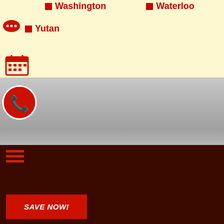Washington
Waterloo
Yutan
[Figure (illustration): Garage door / exterior photo with gray gradient background]
SPECIAL OFFER
$200 OFF A NEW GARAGE DOOR
A new garage door not only improves your home's curb appeal, it also increases your home value. Schedule an appointment today to take advantage of this special offer.
SAVE NOW!